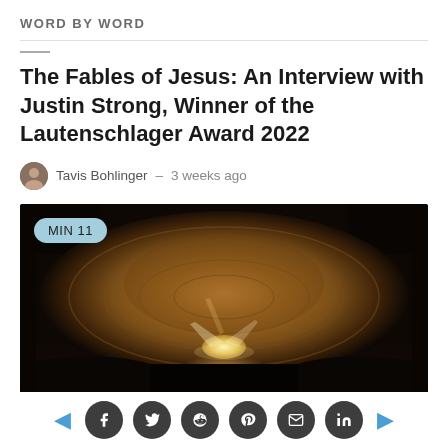WORD BY WORD
The Fables of Jesus: An Interview with Justin Strong, Winner of the Lautenschlager Award 2022
Tavis Bohlinger – 3 weeks ago
[Figure (photo): Interior dome of an ancient stone building, viewed from below with a fisheye lens. Light streams through an opening at the bottom. MIN 11 badge in top-left corner.]